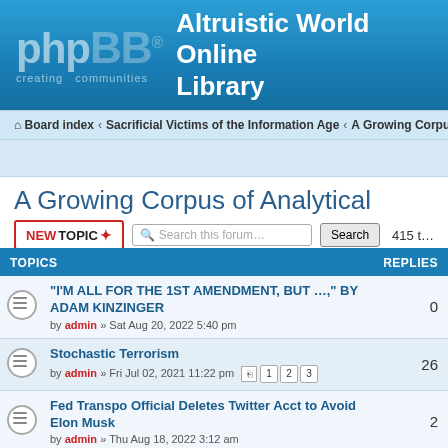[Figure (logo): phpBB logo with 'creating communities' tagline on blue banner background]
Altruistic World Online Library
Board index › Sacrificial Victims of the Information Age › A Growing Corpus o...
A Growing Corpus of Analytical Materials
"I'M ALL FOR THE 1ST AMENDMENT, BUT ...," BY ADAM KINZINGER — by admin » Sat Aug 20, 2022 5:40 pm — REPLIES: 0
Stochastic Terrorism — by admin » Fri Jul 02, 2021 11:22 pm — REPLIES: 26
Fed Transpo Official Deletes Twitter Acct to Avoid Elon Musk — by admin » Thu Aug 18, 2022 3:12 am — REPLIES: 2
WE'VE LOST "WOMAN"--J.K. Rowling Writes on Sex and Gender — by admin » Sun Jul 17, 2022 9:12 pm — REPLIES: 7